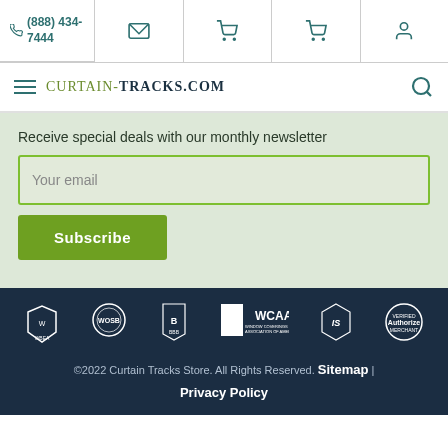(888) 434-7444
[Figure (logo): Curtain-Tracks.com website header with hamburger menu, logo, and search icon]
Receive special deals with our monthly newsletter
Your email
Subscribe
[Figure (logo): Footer trust badges: WBEA, WOSB, BBB, WCAA Window Coverings Association of America, ASID, Authorize.Net Verified Merchant]
©2022 Curtain Tracks Store. All Rights Reserved. Sitemap | Privacy Policy